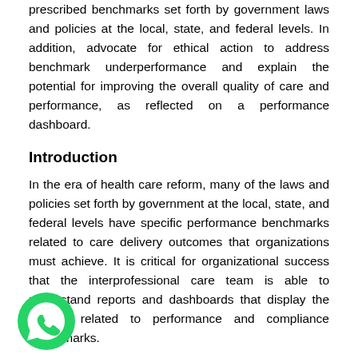prescribed benchmarks set forth by government laws and policies at the local, state, and federal levels. In addition, advocate for ethical action to address benchmark underperformance and explain the potential for improving the overall quality of care and performance, as reflected on a performance dashboard.
Introduction
In the era of health care reform, many of the laws and policies set forth by government at the local, state, and federal levels have specific performance benchmarks related to care delivery outcomes that organizations must achieve. It is critical for organizational success that the interprofessional care team is able to understand reports and dashboards that display the metrics related to performance and compliance benchmarks.
Maintaining standards and promoting quality in modern health care requires knowledge of the core performance...